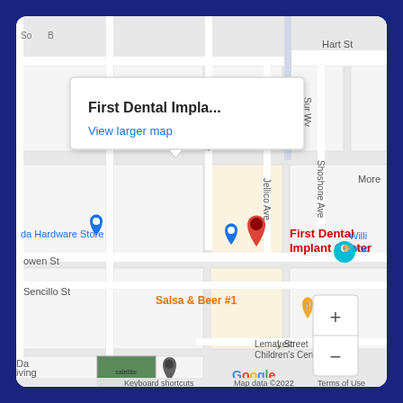[Figure (map): Google Maps screenshot showing First Dental Implant Center location with a red map pin, surrounding streets including Hart St, Sur Wy, Shoshone Ave, Jellico Ave, Oak Ave, Sencillo St, Bowen St, Lemay Street. Nearby points of interest include a Hardware Store, Salsa & Beer #1, Williams Wood, Lemay Street Children's Center, Mrs. Bella's Dolls. A popup tooltip reads 'First Dental Implan... View larger map'. Map controls (zoom in/out), Google logo, keyboard shortcuts, map data copyright 2022, and Terms of Use are visible.]